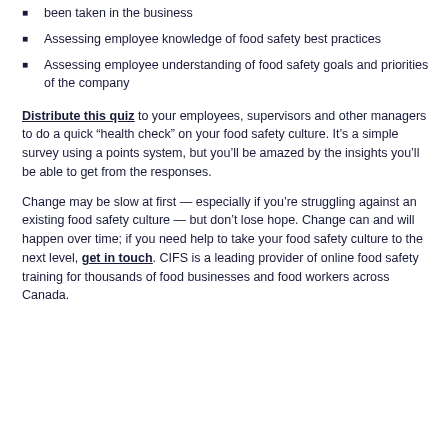been taken in the business
Assessing employee knowledge of food safety best practices
Assessing employee understanding of food safety goals and priorities of the company
Distribute this quiz to your employees, supervisors and other managers to do a quick “health check” on your food safety culture. It’s a simple survey using a points system, but you’ll be amazed by the insights you’ll be able to get from the responses.
Change may be slow at first — especially if you’re struggling against an existing food safety culture — but don’t lose hope. Change can and will happen over time; if you need help to take your food safety culture to the next level, get in touch. CIFS is a leading provider of online food safety training for thousands of food businesses and food workers across Canada.